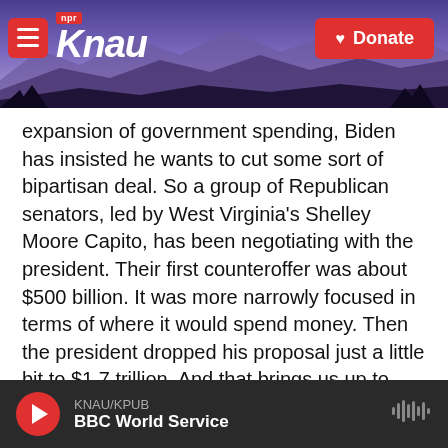KNAU NPR — Donate
expansion of government spending, Biden has insisted he wants to cut some sort of bipartisan deal. So a group of Republican senators, led by West Virginia's Shelley Moore Capito, has been negotiating with the president. Their first counteroffer was about $500 billion. It was more narrowly focused in terms of where it would spend money. Then the president dropped his proposal just a little bit to $1.7 trillion. And that brings us up to yesterday when the Senate Republicans came back agreeing to spend a little bit less than $1 trillion. So the White House had set a rough
KNAU/KPUB — BBC World Service